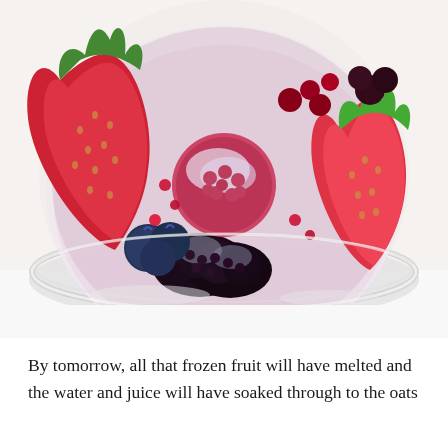[Figure (photo): Overhead view of a clear glass jar or container filled with frozen mixed berries including strawberries, blackberries, blueberries, raspberries, and other red/dark fruits, sitting in what appears to be milk or liquid. The fruits are frost-coated and the container sits on a white surface.]
By tomorrow, all that frozen fruit will have melted and the water and juice will have soaked through to the oats